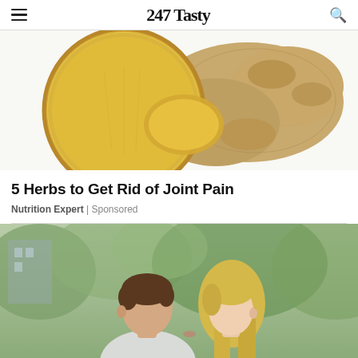247 Tasty
[Figure (photo): Sliced ginger root on white background showing yellow interior cross-section and brown exterior]
5 Herbs to Get Rid of Joint Pain
Nutrition Expert | Sponsored
[Figure (photo): Young couple about to kiss outdoors with blurred green trees in background]